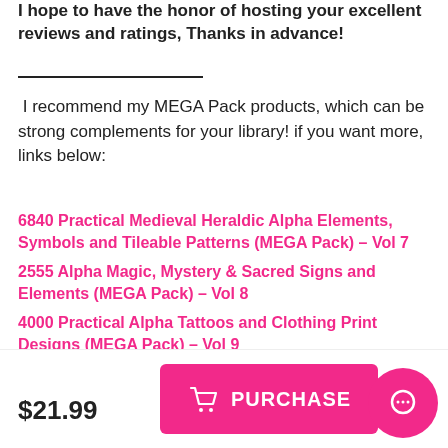I hope to have the honor of hosting your excellent reviews and ratings, Thanks in advance!
I recommend my MEGA Pack products, which can be strong complements for your library! if you want more, links below:
6840 Practical Medieval Heraldic Alpha Elements, Symbols and Tileable Patterns (MEGA Pack) – Vol 7
2555 Alpha Magic, Mystery & Sacred Signs and Elements (MEGA Pack) – Vol 8
4000 Practical Alpha Tattoos and Clothing Print Designs (MEGA Pack) – Vol 9
6060 Practical Alpha Symbols and Patterns from Ancient Civilizations (MEGA Pack) – Vol 10
$21.99
PURCHASE